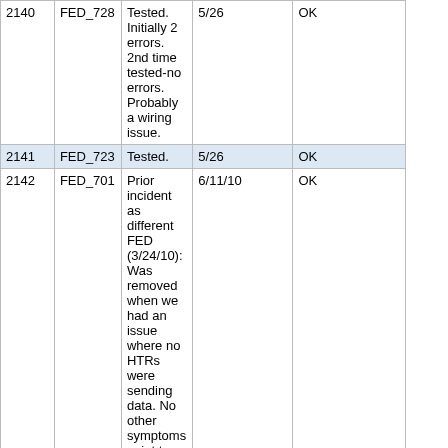| # | FED | Notes | Date | Status |
| --- | --- | --- | --- | --- |
| 2140 | FED_728 | Tested. Initially 2 errors. 2nd time tested-no errors. Probably a wiring issue. | 5/26 | OK |
| 2141 | FED_723 | Tested. | 5/26 | OK |
| 2142 | FED_701 | Prior incident as different FED (3/24/10): Was removed when we had an issue where no HTRs were sending data. No other symptoms point to DCC failure | 6/11/10 | OK |
Changed:
| < | # | Source | Notes | Date | Status |
| --- | --- | --- | --- | --- | --- |
| <
< | 2143 | BU | Tested. Ethernet error(RJ 45). Was not fixed. Returned to BU 6/9/09. | Accidentally shipped 5/26 | Sick |
| >
> | 2143 | CERN | Tested. Ethernet error(RJ 45). Was not fixed. Returned to BU 6/9/09. Tested/shipped back to | 8/18/11 | OK |